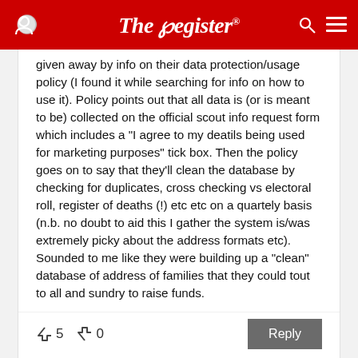The Register
given away by info on their data protection/usage policy (I found it while searching for info on how to use it). Policy points out that all data is (or is meant to be) collected on the official scout info request form which includes a "I agree to my deatils being used for marketing purposes" tick box. Then the policy goes on to say that they'll clean the database by checking for duplicates, cross checking vs electoral roll, register of deaths (!) etc etc on a quartely basis (n.b. no doubt to aid this I gather the system is/was extremely picky about the address formats etc). Sounded to me like they were building up a "clean" database of address of families that they could tout to all and sundry to raise funds.
Wednesday 7th October 2015 12:37 GMT